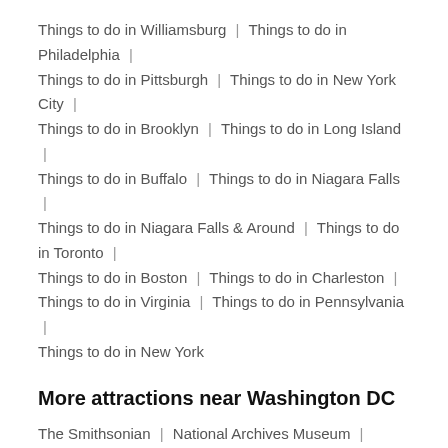Things to do in Williamsburg | Things to do in Philadelphia | Things to do in Pittsburgh | Things to do in New York City | Things to do in Brooklyn | Things to do in Long Island | Things to do in Buffalo | Things to do in Niagara Falls | Things to do in Niagara Falls & Around | Things to do in Toronto | Things to do in Boston | Things to do in Charleston | Things to do in Virginia | Things to do in Pennsylvania | Things to do in New York
More attractions near Washington DC
The Smithsonian | National Archives Museum | National Mall | National Museum of American History | National Museum of African Art | Old Post Office Pavilion | FBI Headquarters | U.S. Navy Memorial | National Gallery of Art | The Pentagon | Hard Rock Café Washington DC |